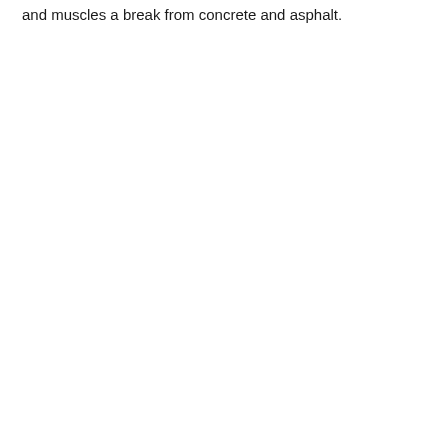and muscles a break from concrete and asphalt.